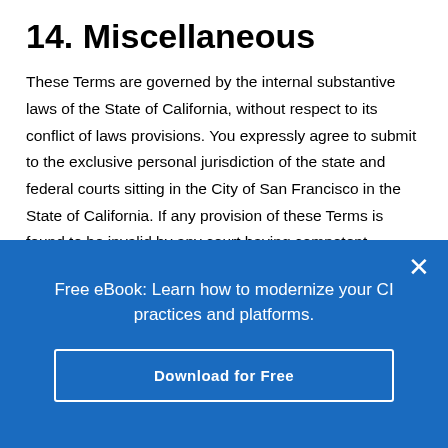14. Miscellaneous
These Terms are governed by the internal substantive laws of the State of California, without respect to its conflict of laws provisions. You expressly agree to submit to the exclusive personal jurisdiction of the state and federal courts sitting in the City of San Francisco in the State of California. If any provision of these Terms is found to be invalid by any court having competent jurisdiction, the invalidity of such provision shall not affect the validity of the remaining provisions of these Terms, which shall remain in
Free eBook: Learn how to modernize your CI practices and platforms.
Download for Free